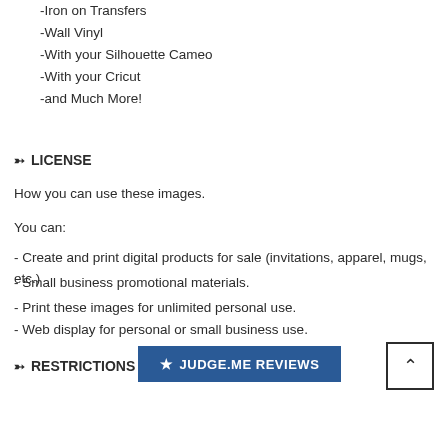-Iron on Transfers
-Wall Vinyl
-With your Silhouette Cameo
-With your Cricut
-and Much More!
➻ LICENSE
How you can use these images.
You can:
- Create and print digital products for sale (invitations, apparel, mugs, etc.)
- Small business promotional materials.
- Print these images for unlimited personal use.
- Web display for personal or small business use.
➻ RESTRICTIONS
[Figure (other): JUDGE.ME REVIEWS button in blue]